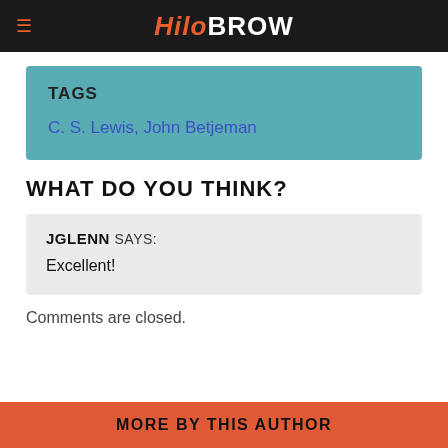HiloBrow
TAGS
C. S. Lewis, John Betjeman
WHAT DO YOU THINK?
JGLENN SAYS:
Excellent!
Comments are closed.
MORE BY THIS AUTHOR